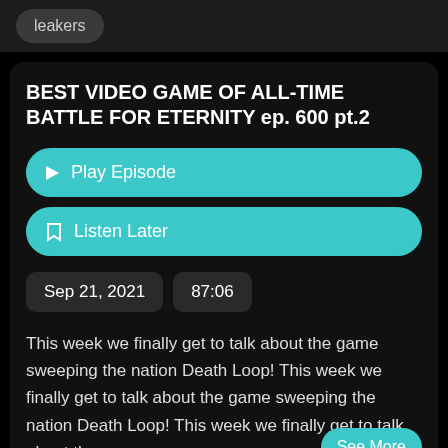leakers
BEST VIDEO GAME OF ALL-TIME BATTLE FOR ETERNITY ep. 600 pt.2
Play Episode
Listen Later
Sep 21, 2021
87:06
This week we finally get to talk about the game sweeping the nation Death Loop! This week we finally get to talk about the game sweeping the nation Death Loop! This week we finally get to talk about the game
See More